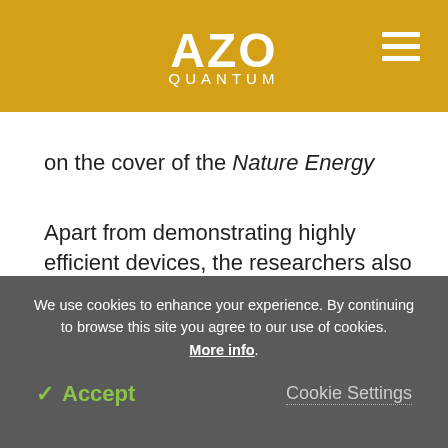AZO QUANTUM
on the cover of the Nature Energy journal.
Apart from demonstrating highly efficient devices, the researchers also unraveled the mechanism that underlies their superior defect tolerance. The defect states in copper indium selenide quantum dots do not affect the photovoltaic performance but promote the photoconversion process.
We use cookies to enhance your experience. By continuing to browse this site you agree to our use of cookies. More info.
✓ Accept   Cookie Settings